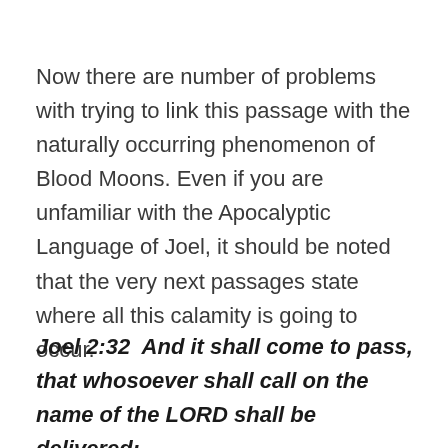Now there are number of problems with trying to link this passage with the naturally occurring phenomenon of Blood Moons. Even if you are unfamiliar with the Apocalyptic Language of Joel, it should be noted that the very next passages state where all this calamity is going to occur.
Joel 2:32  And it shall come to pass, that whosoever shall call on the name of the LORD shall be delivered: